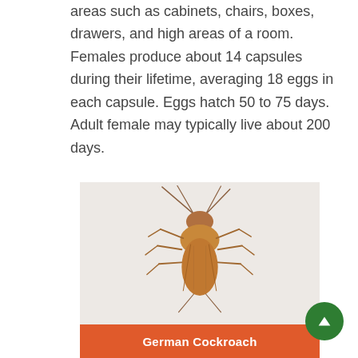areas such as cabinets, chairs, boxes, drawers, and high areas of a room. Females produce about 14 capsules during their lifetime, averaging 18 eggs in each capsule. Eggs hatch 50 to 75 days. Adult female may typically live about 200 days.
[Figure (photo): Close-up photograph of a German Cockroach viewed from above against a light background, with long antennae extending upward and legs visible. An orange caption bar below reads 'German Cockroach' in white bold text.]